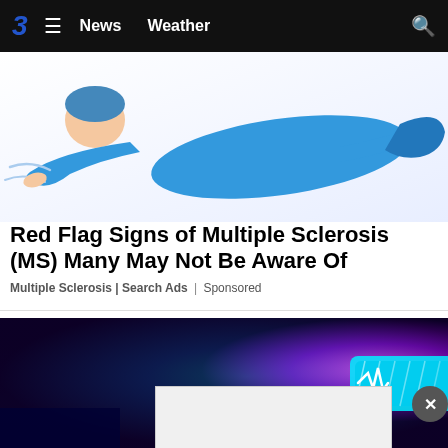3  ≡  News  Weather  🔍
[Figure (illustration): Illustration of a person lying down in a blue outfit, with flowing lines suggesting fatigue or medical condition, on a white background.]
Red Flag Signs of Multiple Sclerosis (MS) Many May Not Be Aware Of
Multiple Sclerosis | Search Ads | Sponsored
[Figure (photo): Photo of police car emergency lights (blue and purple/pink) illuminated in the dark, with a glowing blue light bar visible.]
[Figure (screenshot): Bottom advertisement overlay banner with a close/dismiss (X) button on the right side.]